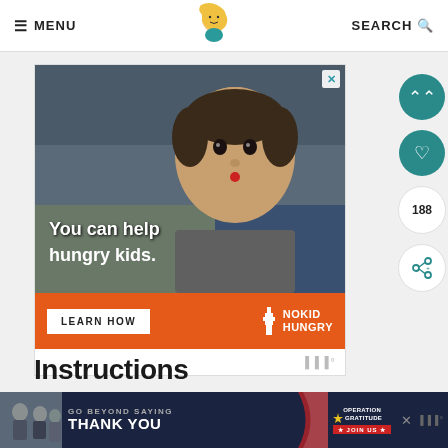≡ MENU | [logo] | SEARCH 🔍
[Figure (photo): Advertisement banner: photo of a young Asian boy eating food, with text overlay 'You can help hungry kids.' and orange bar below with 'LEARN HOW' button and 'NO KID HUNGRY' logo]
Instructions
[Figure (photo): Bottom banner ad: dark background with photo of people, text 'GO BEYOND SAYING THANK YOU', Operation Gratitude logo with 'JOIN US' button]